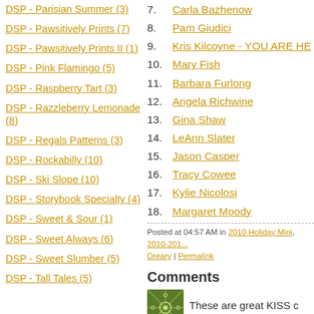DSP - Parisian Summer (3)
DSP - Pawsitively Prints (7)
DSP - Pawsitively Prints II (1)
DSP - Pink Flamingo (5)
DSP - Raspberry Tart (3)
DSP - Razzleberry Lemonade (8)
DSP - Regals Patterns (3)
DSP - Rockabilly (10)
DSP - Ski Slope (10)
DSP - Storybook Specialty (4)
DSP - Sweet & Sour (1)
DSP - Sweet Always (6)
DSP - Sweet Slumber (5)
DSP - Tall Tales (5)
7. Carla Bazhenow
8. Pam Giudici
9. Kris Kilcoyne - YOU ARE HE
10. Mary Fish
11. Barbara Furlong
12. Angela Richwine
13. Gina Shaw
14. LeAnn Slater
15. Jason Casper
16. Tracy Cowee
17. Kylie Nicolosi
18. Margaret Moody
Posted at 04:57 AM in 2010 Holiday Mini, 2010-201... Dreary | Permalink
Comments
These are great KISS c